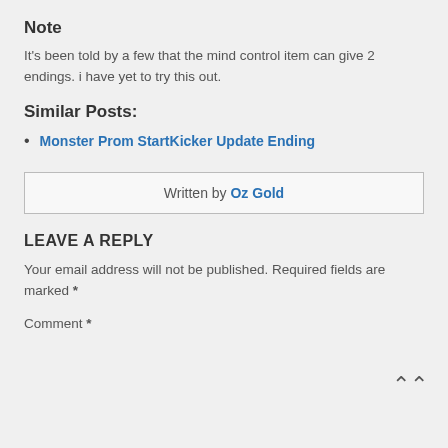Note
It's been told by a few that the mind control item can give 2 endings. i have yet to try this out.
Similar Posts:
Monster Prom StartKicker Update Ending
Written by Oz Gold
LEAVE A REPLY
Your email address will not be published. Required fields are marked *
Comment *